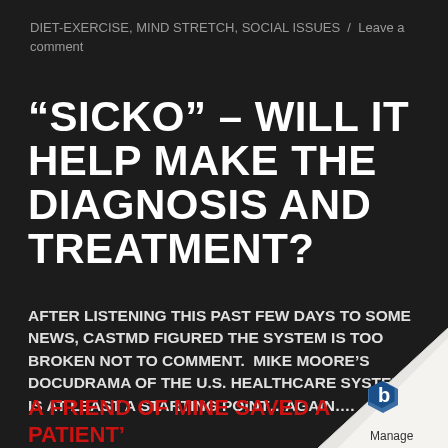DIET-EXERCISE, MIND STRETCH, SOCIAL ISSUES / Leave a comment
“SICKO” – WILL IT HELP MAKE THE DIAGNOSIS AND TREATMENT?
AFTER LISTENING THIS PAST FEW DAYS TO SOME NEWS, CASTMD FIGURED THE SYSTEM IS TOO BROKEN NOT TO COMMENT.  MIKE MOORE’S DOCUDRAMA OF THE U.S. HEALTHCARE SYSTEM IS AT LEAST A STARTING POINT…AGAIN….
A FRIEND OF MINE SAVED A PATIENT’